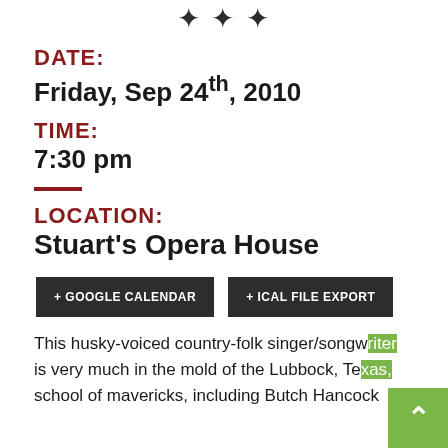[Figure (illustration): Decorative ornamental flourish divider in dark color]
DATE:
Friday, Sep 24th, 2010
TIME:
7:30 pm
LOCATION:
Stuart's Opera House
+ GOOGLE CALENDAR   + ICAL FILE EXPORT
This husky-voiced country-folk singer/songwriter is very much in the mold of the Lubbock, Texas, school of mavericks, including Butch Hancock